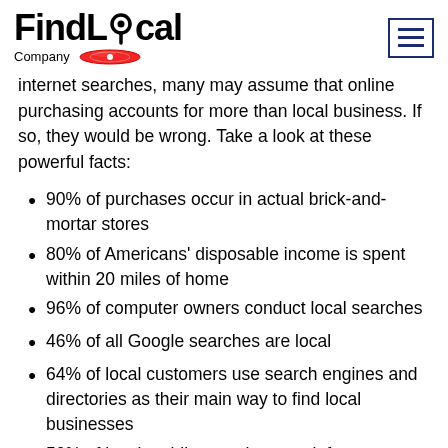[Figure (logo): FindLocal Company logo with red location pin graphic below the text]
internet searches, many may assume that online purchasing accounts for more than local business. If so, they would be wrong. Take a look at these powerful facts:
90% of purchases occur in actual brick-and-mortar stores
80% of Americans' disposable income is spent within 20 miles of home
96% of computer owners conduct local searches
46% of all Google searches are local
64% of local customers use search engines and directories as their main way to find local businesses
50% of local mobile searches result for...